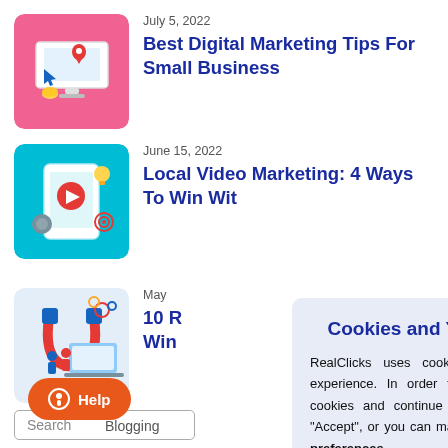[Figure (illustration): Thumbnail image for digital marketing blog post - computer monitor with map pin and cursor icon on pink background]
July 5, 2022
Best Digital Marketing Tips For Small Business
[Figure (illustration): Thumbnail image for local video marketing blog post - hand holding tablet with play button on teal background]
June 15, 2022
Local Video Marketing: 4 Ways To Win Wit
[Figure (illustration): Thumbnail image for third blog post - people with magnet and laptop on light blue background]
May
10 R... Win...
Cookies and Your Choices
RealClicks uses cookies to improve your experience. In order to accept the use of cookies and continue on the website, click "Accept", or you can make changes to cookie preferences.
ACCEPT
Learn more about our Privacy Policy.